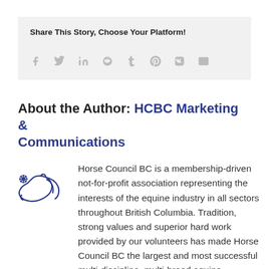Share This Story, Choose Your Platform!
[Figure (infographic): Social media sharing icons: Facebook, Twitter, LinkedIn, Reddit, Tumblr, Pinterest, VK, Email — displayed in a light grey box]
About the Author: HCBC Marketing & Communications
[Figure (logo): Horse Council BC logo — stylized horse head outline in navy blue with a small snowflake/asterisk mark]
Horse Council BC is a membership-driven not-for-profit association representing the interests of the equine industry in all sectors throughout British Columbia. Tradition, strong values and superior hard work provided by our volunteers has made Horse Council BC the largest and most successful multi-discipline, multi-breed equine association in Canada.